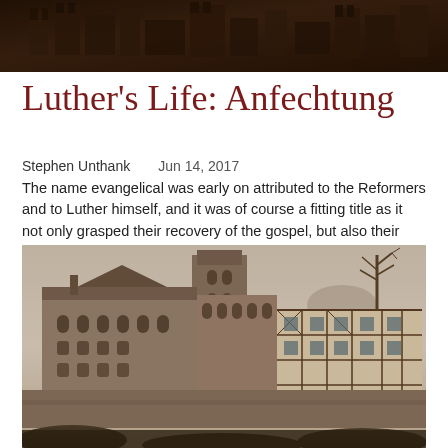[Figure (photo): Sepia-toned historical photograph of a castle or fortress, partially visible, dark and aged appearance — top portion cropped]
Luther's Life: Anfechtung
Stephen Unthank     Jun 14, 2017
The name evangelical was early on attributed to the Reformers and to Luther himself, and it was of course a fitting title as it not only grasped their recovery of the gospel, but also their emphasis upon it and the good news it declared. For Luther that good news only made sense in light of the bad...
[Figure (photo): Sepia-toned historical photograph of Wartburg Castle, showing medieval stone buildings with towers, half-timbered sections, and bare winter trees against a pale sky]